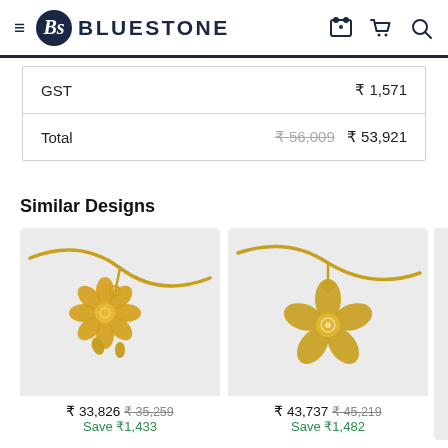BLUESTONE
|  |  |
| --- | --- |
| GST | ₹ 1,571 |
| Total | ₹ 56,009  ₹ 53,921 |
Similar Designs
[Figure (photo): Gold flower pendant on chain, first similar design]
₹ 33,826  ₹ 35,259  Save ₹1,433
[Figure (photo): Gold star flower pendant on chain, second similar design]
₹ 43,737  ₹ 45,219  Save ₹1,482
[Figure (photo): Third partially visible gold jewelry pendant on chain]